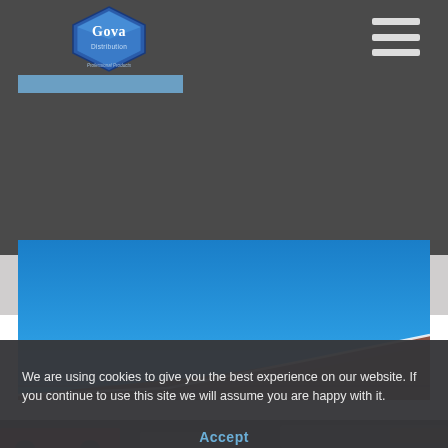[Figure (logo): Gova Distribution logo — blue hexagonal diamond shape with 'Gova' and 'Distribution' text and tagline 'Professional Products']
[Figure (photo): Blue sky and rooftop of a brick building photographed from below, diagonal roofline against clear blue sky]
We are using cookies to give you the best experience on our website. If you continue to use this site we will assume you are happy with it.
Accept
[Figure (photo): Bottom strip showing partial view of cars or vehicles, dark strip at base of page]